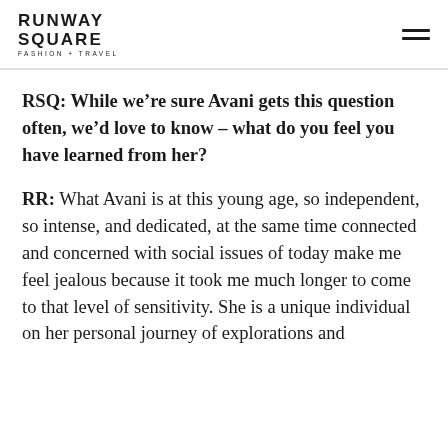RUNWAY SQUARE FASHION + TRAVEL
RSQ: While we’re sure Avani gets this question often, we’d love to know – what do you feel you have learned from her?
RR: What Avani is at this young age, so independent, so intense, and dedicated, at the same time connected and concerned with social issues of today make me feel jealous because it took me much longer to come to that level of sensitivity. She is a unique individual on her personal journey of explorations and